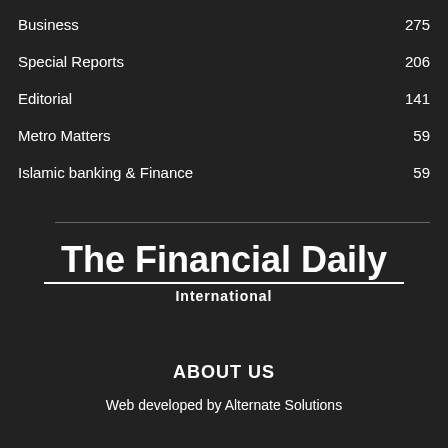Business   275
Special Reports   206
Editorial   141
Metro Matters   59
Islamic banking & Finance   59
[Figure (logo): The Financial Daily International logo with bold white text and underline]
ABOUT US
Web developed by Alternate Solutions